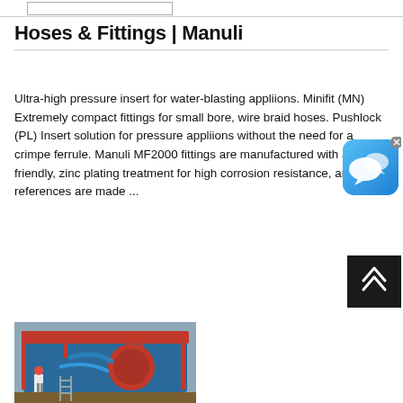[Figure (screenshot): Navigation bar element at top of page with a rectangular input/search box]
Hoses & Fittings | Manuli
Ultra-high pressure insert for water-blasting appliions. Minifit (MN) Extremely compact fittings for small bore, wire braid hoses. Pushlock (PL) Insert solution for pressure appliions without the need for a crimpe ferrule. Manuli MF2000 fittings are manufactured with an eco-friendly, zinc plating treatment for high corrosion resistance, and most references are made ...
[Figure (photo): Industrial machinery photo showing large blue industrial equipment with red scaffolding/framework, a worker in red hard hat visible at bottom left]
[Figure (other): Chat widget icon — blue rounded square with white speech bubble icon and grey X close button]
[Figure (other): Scroll-to-top button — black square with white double chevron arrows pointing up]